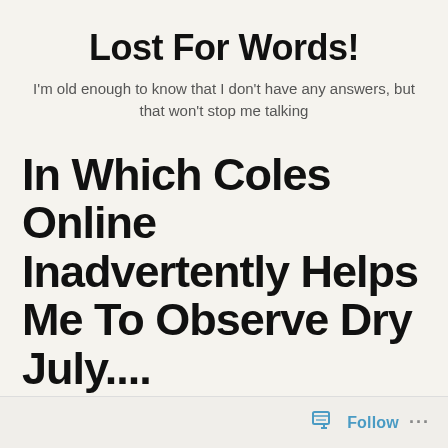Lost For Words!
I'm old enough to know that I don't have any answers, but that won't stop me talking
In Which Coles Online Inadvertently Helps Me To Observe Dry July....
Follow ...